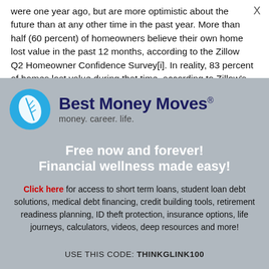were one year ago, but are more optimistic about the future than at any other time in the past year. More than half (60 percent) of homeowners believe their own home lost value in the past 12 months, according to the Zillow Q2 Homeowner Confidence Survey[i]. In reality, 83 percent of homes lost value during that time, according to Zillow's
[Figure (logo): Best Money Moves logo — blue circular leaf icon with the text 'Best Money Moves®' in dark navy bold font and tagline 'money. career. life.' below]
Free now and forever!
Financial wellness made easy!
Click here for access to short term loans, student loan debt solutions, medical debt financing, credit building tools, retirement readiness planning, ID theft protection, insurance options, life journeys, calculators, videos, deep resources and more!
USE THIS CODE: THINKGLINK100